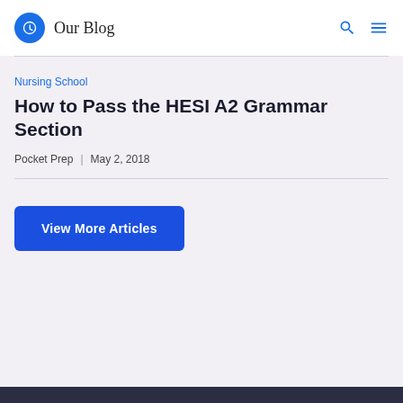Our Blog
Nursing School
How to Pass the HESI A2 Grammar Section
Pocket Prep  |  May 2, 2018
View More Articles